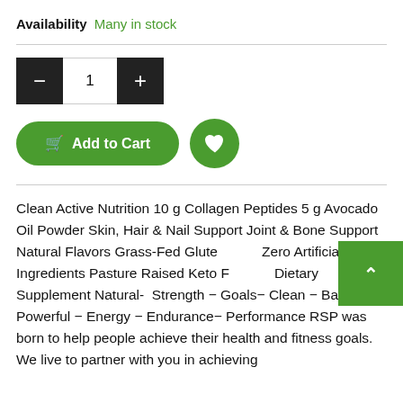Availability Many in stock
Quantity control: minus, 1, plus
Add to Cart (button) | Wishlist (button)
Clean Active Nutrition 10 g Collagen Peptides 5 g Avocado Oil Powder Skin, Hair & Nail Support Joint & Bone Support Natural Flavors Grass-Fed Gluten Free Zero Artificial Ingredients Pasture Raised Keto Friendly Dietary Supplement Natural-  Strength - Goals- Clean - Balance - Powerful - Energy - Endurance- Performance RSP was born to help people achieve their health and fitness goals. We live to partner with you in achieving